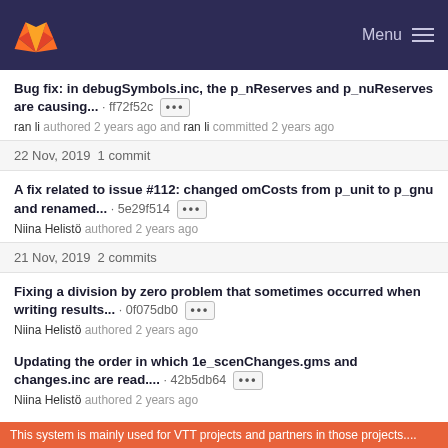GitLab Menu
Bug fix: in debugSymbols.inc, the p_nReserves and p_nuReserves are causing... · ff72f52c [•••]
ran li authored 2 years ago and ran li committed 2 years ago
22 Nov, 2019 1 commit
A fix related to issue #112: changed omCosts from p_unit to p_gnu and renamed... · 5e29f514 [•••]
Niina Helistö authored 2 years ago
21 Nov, 2019 2 commits
Fixing a division by zero problem that sometimes occurred when writing results... · 0f075db0 [•••]
Niina Helistö authored 2 years ago
Updating the order in which 1e_scenChanges.gms and changes.inc are read.... · 42b5db64 [•••]
Niina Helistö authored 2 years ago
This system is mainly used for VTT projects and partners in those projects....